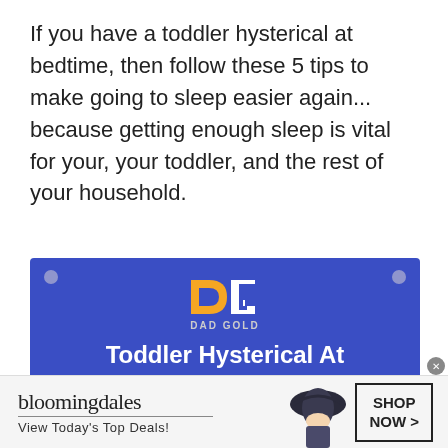If you have a toddler hysterical at bedtime, then follow these 5 tips to make going to sleep easier again... because getting enough sleep is vital for your, your toddler, and the rest of your household.
[Figure (infographic): Blue banner ad for Dad Gold website showing DG logo with text 'Toddler Hysterical At Bedtime? 5 Possible Reasons' with corner circle decorations]
[Figure (infographic): Bloomingdale's advertisement banner showing logo, 'View Today's Top Deals!' tagline, woman in hat image, and 'SHOP NOW >' button]